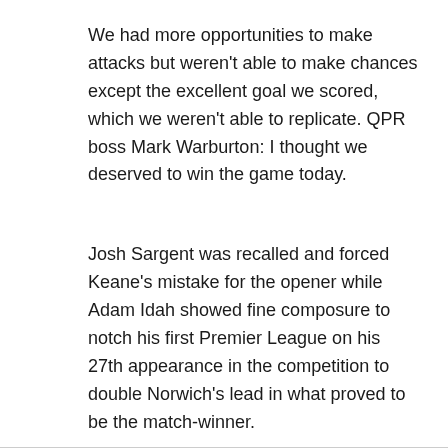We had more opportunities to make attacks but weren't able to make chances except the excellent goal we scored, which we weren't able to replicate. QPR boss Mark Warburton: I thought we deserved to win the game today.
Josh Sargent was recalled and forced Keane's mistake for the opener while Adam Idah showed fine composure to notch his first Premier League on his 27th appearance in the competition to double Norwich's lead in what proved to be the match-winner.
Sevilla FC en directo online, partidos en TV hoy - Sporticos